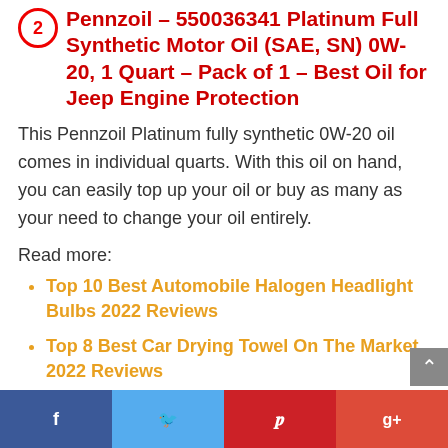2 Pennzoil – 550036341 Platinum Full Synthetic Motor Oil (SAE, SN) 0W-20, 1 Quart – Pack of 1 – Best Oil for Jeep Engine Protection
This Pennzoil Platinum fully synthetic 0W-20 oil comes in individual quarts. With this oil on hand, you can easily top up your oil or buy as many as your need to change your oil entirely.
Read more:
Top 10 Best Automobile Halogen Headlight Bulbs 2022 Reviews
Top 8 Best Car Drying Towel On The Market 2022 Reviews
Facebook  Twitter  Pinterest  Google+